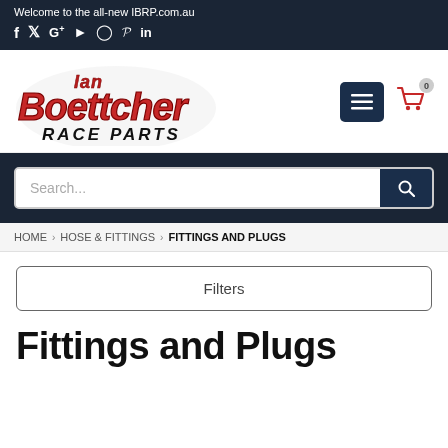Welcome to the all-new IBRP.com.au
[Figure (logo): Ian Boettcher Race Parts logo — red stylized text 'Ian Boettcher' with 'RACE PARTS' in black italic below]
Search...
HOME › HOSE & FITTINGS › FITTINGS AND PLUGS
Filters
Fittings and Plugs